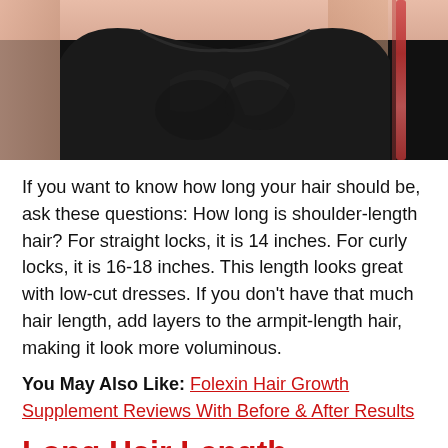[Figure (photo): Photo of a woman wearing a black strapless low-cut dress with a pink/red chain strap accessory over her shoulder, cropped to show torso and neckline area.]
If you want to know how long your hair should be, ask these questions: How long is shoulder-length hair? For straight locks, it is 14 inches. For curly locks, it is 16-18 inches. This length looks great with low-cut dresses. If you don't have that much hair length, add layers to the armpit-length hair, making it look more voluminous.
You May Also Like: Folexin Hair Growth Supplement Reviews With Before & After Results
Long Hair Length